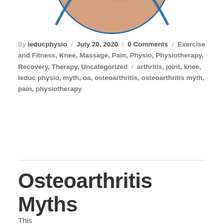[Figure (photo): Circular cropped photo of a person's knee or body area, partially visible at top of page, framed with blue circular border]
By leducphysio / July 20, 2020 / 0 Comments / Exercise and Fitness, Knee, Massage, Pain, Physio, Physiotherapy, Recovery, Therapy, Uncategorized / arthritis, joint, knee, leduc physio, myth, oa, osteoarthritis, osteoarthritis myth, pain, physiotherapy
Osteoarthritis Myths
This